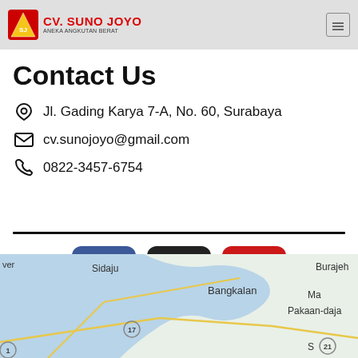CV. SUNO JOYO
Contact Us
Jl. Gading Karya 7-A, No. 60, Surabaya
cv.sunojoyo@gmail.com
0822-3457-6754
[Figure (screenshot): Social media icons: Facebook (blue), Instagram (dark), YouTube (red)]
[Figure (map): Google Maps showing area around Surabaya including Sidaju, Bangkalan, Burajeh, Pakaan-daja locations]